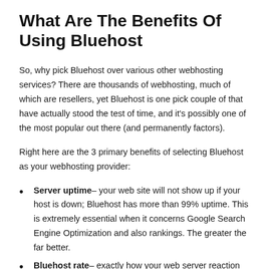What Are The Benefits Of Using Bluehost
So, why pick Bluehost over various other webhosting services? There are thousands of webhosting, much of which are resellers, yet Bluehost is one pick couple of that have actually stood the test of time, and it's possibly one of the most popular out there (and permanently factors).
Right here are the 3 primary benefits of selecting Bluehost as your webhosting provider:
Server uptime– your web site will not show up if your host is down; Bluehost has more than 99% uptime. This is extremely essential when it concerns Google Search Engine Optimization and also rankings. The greater the far better.
Bluehost rate– exactly how your web server reaction